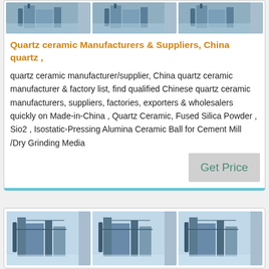[Figure (photo): Three identical industrial facility/plant photos in a row (top card)]
Quartz ceramic Manufacturers & Suppliers, China quartz ,
quartz ceramic manufacturer/supplier, China quartz ceramic manufacturer & factory list, find qualified Chinese quartz ceramic manufacturers, suppliers, factories, exporters & wholesalers quickly on Made-in-China , Quartz Ceramic, Fused Silica Powder , Sio2 , Isostatic-Pressing Alumina Ceramic Ball for Cement Mill /Dry Grinding Media
Get Price
[Figure (photo): Three identical industrial facility/plant photos in a row (bottom card)]